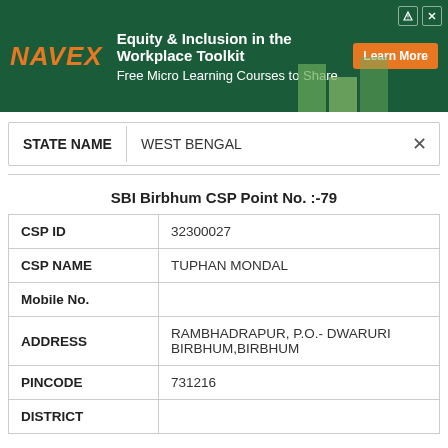[Figure (illustration): NAVEX advertisement banner for Equity & Inclusion in the Workplace Toolkit with Learn More button]
| STATE NAME | WEST BENGAL |
| --- | --- |
SBI Birbhum CSP Point No. :-79
| Field | Value |
| --- | --- |
| CSP ID | 32300027 |
| CSP NAME | TUPHAN MONDAL |
| Mobile No. |  |
| ADDRESS | RAMBHADRAPUR, P.O.- DWARURI BIRBHUM,BIRBHUM |
| PINCODE | 731216 |
| DISTRICT |  |